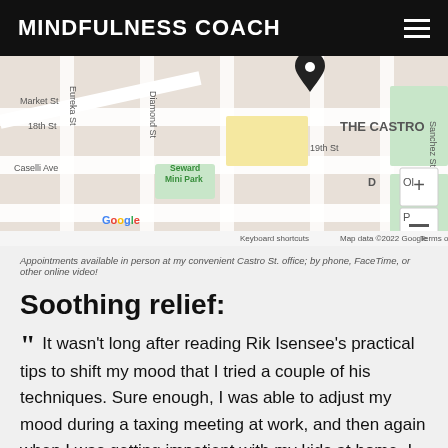MINDFULNESS COACH
[Figure (map): Google Map showing The Castro neighborhood in San Francisco with a location pin dropped, showing streets including Market St, 18th St, 19th St, Diamond St, Eureka St, Caselli Ave, and Seward Mini Park. Map data ©2022 Google.]
Appointments available in person at my convenient Castro St. office; by phone, FaceTime, or other online video!
Soothing relief:
" It wasn't long after reading Rik Isensee's practical tips to shift my mood that I tried a couple of his techniques. Sure enough, I was able to adjust my mood during a taxing meeting at work, and then again when I was getting impatient with my kids at home. I mentally put myself in the relaxed state that